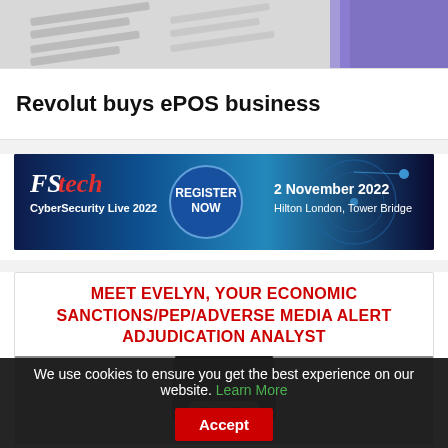[Figure (screenshot): Top portion of an article card showing a partial document/form image with a purple accent in the top-right corner]
Revolut buys ePOS business
[Figure (infographic): FStech CyberSecurity Live 2022 banner advertisement. Text: FS tech CyberSecurity Live 2022, REGISTER NOW, 2 November 2022, Hilton London, Tower Bridge]
MEET EVELYN, YOUR ECONOMIC SANCTIONS/PEP/ADVERSE MEDIA ALERT ADJUDICATION ANALYST
[Figure (photo): Partial photo of a woman's face/head against a grey background, visible from just above the eyes upward]
We use cookies to ensure you get the best experience on our website. Learn More